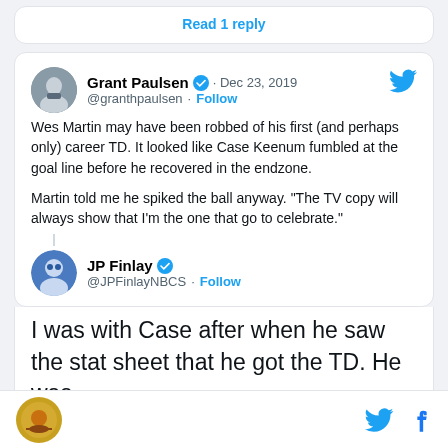Read 1 reply
Grant Paulsen @granthpaulsen · Dec 23, 2019 · Follow
Wes Martin may have been robbed of his first (and perhaps only) career TD. It looked like Case Keenum fumbled at the goal line before he recovered in the endzone.

Martin told me he spiked the ball anyway. "The TV copy will always show that I'm the one that go to celebrate."
JP Finlay @JPFinlayNBCS · Follow
I was with Case after when he saw the stat sheet that he got the TD. He was
Twitter and Facebook icons